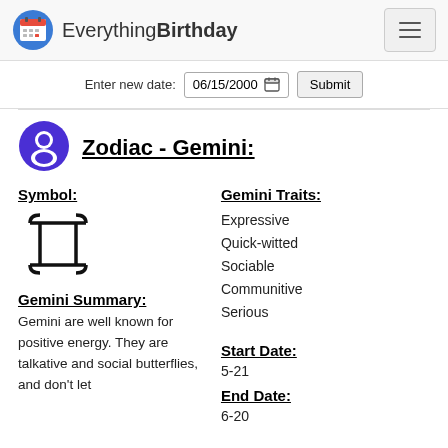EverythingBirthday
Enter new date: 06/15/2000 | Submit
Zodiac - Gemini:
Symbol:
[Figure (illustration): Gemini zodiac symbol (twin pillars glyph)]
Gemini Traits:
Expressive
Quick-witted
Sociable
Communitive
Serious
Gemini Summary:
Gemini are well known for positive energy. They are talkative and social butterflies, and don't let
Start Date:
5-21
End Date:
6-20